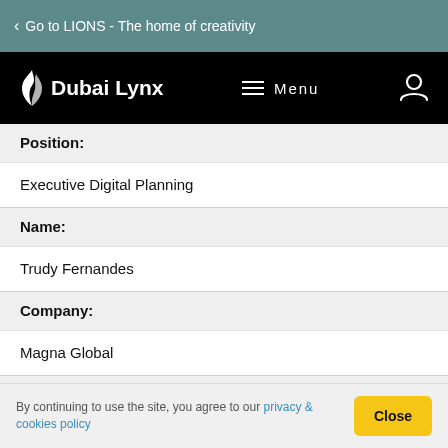Go to LIONS - The home of creativity
[Figure (logo): Dubai Lynx logo and navigation bar with Menu and user icon]
Position:
Executive Digital Planning
Name:
Trudy Fernandes
Company:
Magna Global
Position:
By continuing to use the site, you agree to our privacy & cookies policy  Close